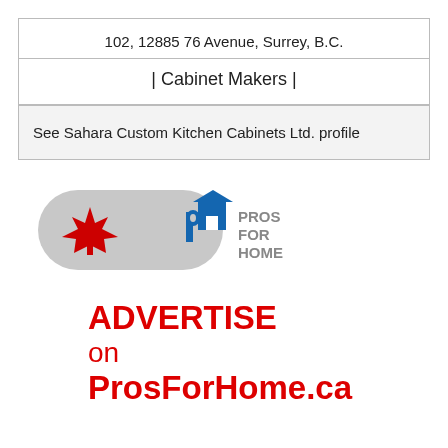102, 12885 76 Avenue, Surrey, B.C.
| Cabinet Makers |
See Sahara Custom Kitchen Cabinets Ltd. profile
[Figure (logo): Pros For Home logo: a grey pill shape with a red maple leaf on the left and a blue stylized 'ph' house icon on the right, with 'PROS FOR HOME' text in grey to the right of the icon.]
ADVERTISE on ProsForHome.ca